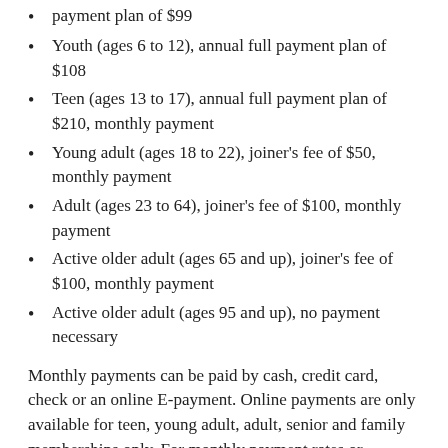payment plan of $99
Youth (ages 6 to 12), annual full payment plan of $108
Teen (ages 13 to 17), annual full payment plan of $210, monthly payment
Young adult (ages 18 to 22), joiner's fee of $50, monthly payment
Adult (ages 23 to 64), joiner's fee of $100, monthly payment
Active older adult (ages 65 and up), joiner's fee of $100, monthly payment
Active older adult (ages 95 and up), no payment necessary
Monthly payments can be paid by cash, credit card, check or an online E-payment. Online payments are only available for teen, young adult, adult, senior and family memberships only. For monthly payment rates or additonal membership information, visit the YMCA of Montclair's website.
There are two YMCA of Montclair locations: one on Park